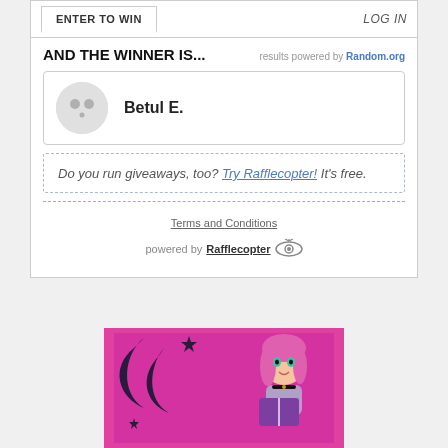ENTER TO WIN
LOG IN
AND THE WINNER IS...
results powered by Random.org
Betul E.
Do you run giveaways, too? Try Rafflecopter! It's free.
Terms and Conditions
powered by Rafflecopter
[Figure (illustration): Cartoon illustration of a girl with pink hair reading a book on a pink/purple background with dark moon and star decorative elements]